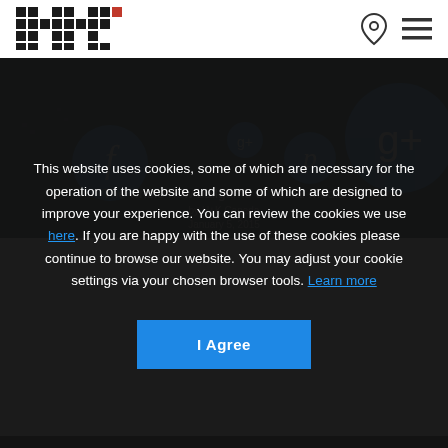H+K logo, location icon, menu icon
[Figure (screenshot): Hero image with dark city background and social media bubbles (Facebook, Google+, Pinterest) overlaid. Title: The whole new ballgame of social media. Author: by H+K Canada. Date: January 5, 2015]
This website uses cookies, some of which are necessary for the operation of the website and some of which are designed to improve your experience. You can review the cookies we use here. If you are happy with the use of these cookies please continue to browse our website. You may adjust your cookie settings via your chosen browser tools. Learn more
I Agree